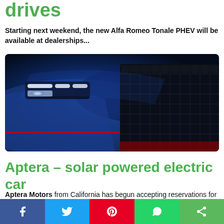drives
Starting next weekend, the new Alfa Romeo Tonale PHEV will be available at dealerships...
[Figure (photo): Close-up front view of Alfa Romeo Tonale PHEV showing headlights and front grille in blue]
Aptera – solar powered electric car
Aptera Motors from California has begun accepting reservations for its three-...
[Figure (photo): Partial view of Aptera solar-powered electric car on dark background]
Social share bar: Facebook, Twitter, Pinterest, WhatsApp, Share